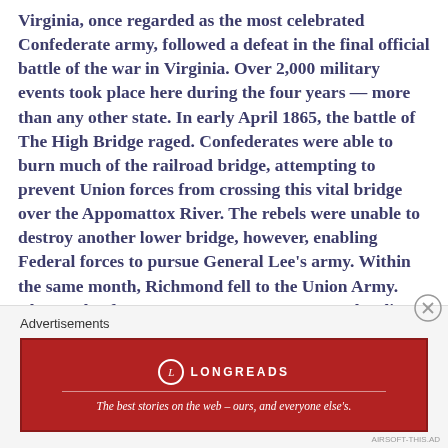Virginia, once regarded as the most celebrated Confederate army, followed a defeat in the final official battle of the war in Virginia. Over 2,000 military events took place here during the four years — more than any other state. In early April 1865, the battle of The High Bridge raged. Confederates were able to burn much of the railroad bridge, attempting to prevent Union forces from crossing this vital bridge over the Appomattox River. The rebels were unable to destroy another lower bridge, however, enabling Federal forces to pursue General Lee's army. Within the same month, Richmond fell to the Union Army. The Battle of Appomattox Court House was the climax of a campaign that began
[Figure (other): Advertisement banner for Longreads: 'The best stories on the web – ours, and everyone else's.' with close button]